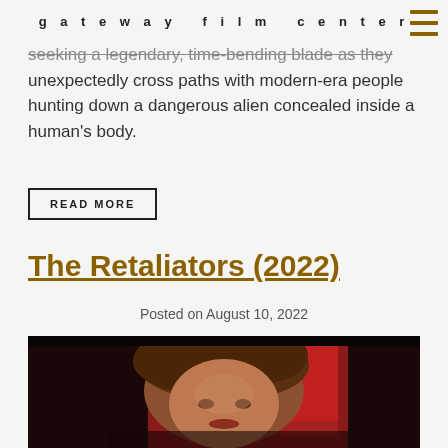gateway film center
seeking a legendary, time-bending blade as they unexpectedly cross paths with modern-era people hunting down a dangerous alien concealed inside a human's body.
READ MORE
The Retaliators (2022)
Posted on August 10, 2022
[Figure (photo): Movie poster or promotional image for The Retaliators (2022) showing a close-up painted portrait of a woman with blonde hair against a dark red painted background]